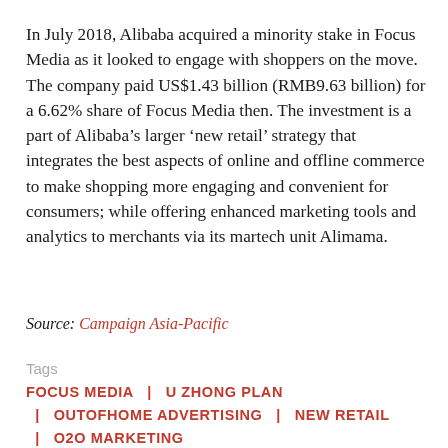In July 2018, Alibaba acquired a minority stake in Focus Media as it looked to engage with shoppers on the move. The company paid US$1.43 billion (RMB9.63 billion) for a 6.62% share of Focus Media then. The investment is a part of Alibaba’s larger ‘new retail’ strategy that integrates the best aspects of online and offline commerce to make shopping more engaging and convenient for consumers; while offering enhanced marketing tools and analytics to merchants via its martech unit Alimama.
Source: Campaign Asia-Pacific
Tags
FOCUS MEDIA | U ZHONG PLAN | OUTOFHOME ADVERTISING | NEW RETAIL | O2O MARKETING